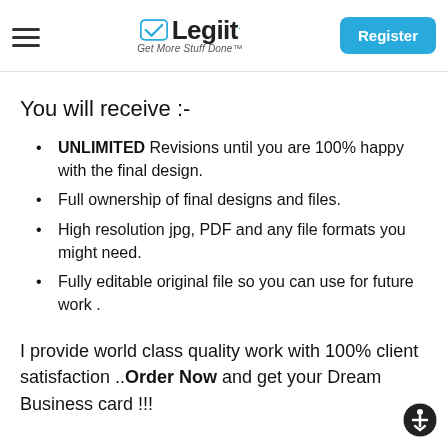Legiit — Get More Stuff Done™  [Register]
You will receive :-
UNLIMITED Revisions until you are 100% happy with the final design.
Full ownership of final designs and files.
High resolution jpg, PDF and any file formats you might need.
Fully editable original file so you can use for future work .
I provide world class quality work with 100% client satisfaction ..Order Now and get your Dream Business card !!!